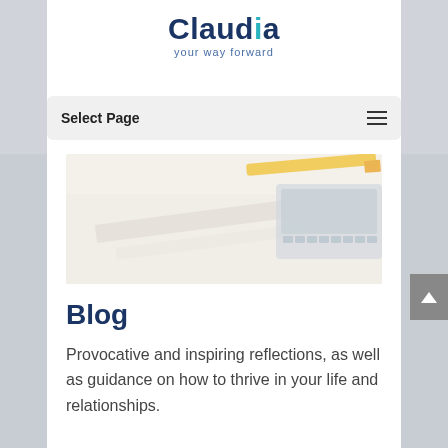[Figure (logo): Claudia logo with tagline 'your way forward'. Text 'Claudia' in dark navy bold with a teal accent dot over the 'i', tagline 'your way forward' in smaller blue text below.]
Select Page
[Figure (photo): A blurred office desk photo showing papers, a yellow pencil/pen, and what appears to be a calculator or keyboard, light warm tones.]
Blog
Provocative and inspiring reflections, as well as guidance on how to thrive in your life and relationships.